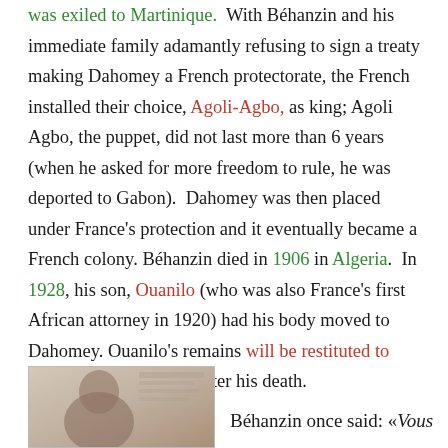was exiled to Martinique. With Béhanzin and his immediate family adamantly refusing to sign a treaty making Dahomey a French protectorate, the French installed their choice, Agoli-Agbo, as king; Agoli Agbo, the puppet, did not last more than 6 years (when he asked for more freedom to rule, he was deported to Gabon). Dahomey was then placed under France's protection and it eventually became a French colony. Béhanzin died in 1906 in Algeria. In 1928, his son, Ouanilo (who was also France's first African attorney in 1920) had his body moved to Dahomey. Ouanilo's remains will be restituted to Benin almost 80 years after his death.
[Figure (photo): Portrait photo of Béhanzin, partially visible at bottom left of page]
Béhanzin once said: «Vous